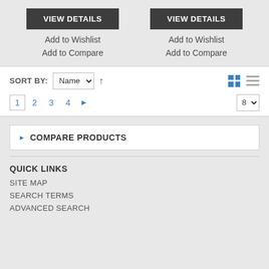VIEW DETAILS (left button)
Add to Wishlist
Add to Compare
VIEW DETAILS (right button)
Add to Wishlist
Add to Compare
SORT BY: Name ↑
1 2 3 4 ▶   8
▶ COMPARE PRODUCTS
QUICK LINKS
SITE MAP
SEARCH TERMS
ADVANCED SEARCH